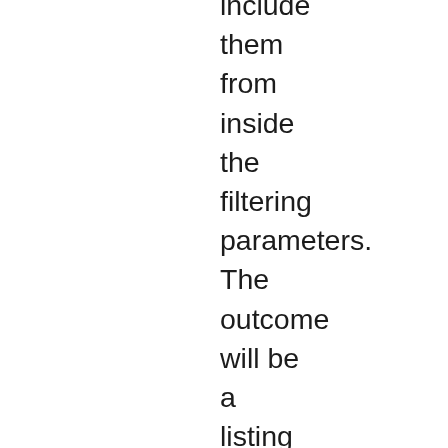include them from inside the filtering parameters. The outcome will be a listing of you can fits centered on brand new chosen conditions and a level of being compatible